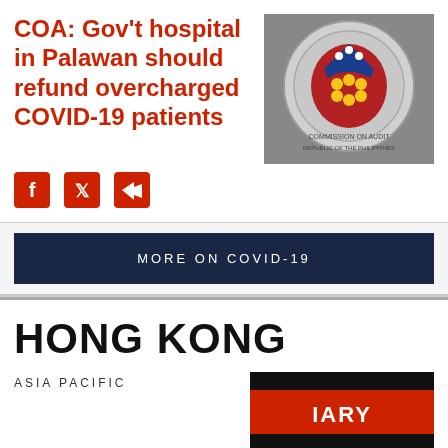COA: Gov't hospital in Palawan should refund overcharged COVID-19 patients
[Figure (photo): Commission on Audit (COA) seal/logo of the Republic of the Philippines]
[Figure (infographic): Social media share icons: Facebook, Twitter, Share]
MORE ON COVID-19
HONG KONG
ASIA PACIFIC
[Figure (photo): Partial image with red background and partial text visible: IARY]